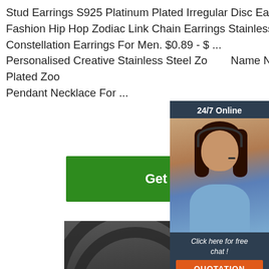Stud Earrings S925 Platinum Plated Irregular Disc Earrings ... 2021 Fashion Hip Hop Zodiac Link Chain Earrings Stainless Steel Silver Plated Constellation Earrings For Men. $0.89 - $ ... Personalised Creative Stainless Steel Zodiac Name Necklace Choker Gold Plated Zodiac Pendant Necklace For ...
Get Price
[Figure (photo): Customer service representative with headset, 24/7 Online chat widget with dark blue background, showing 'Click here for free chat!' and an orange QUOTATION button]
[Figure (photo): Industrial coiled wire rods stacked together, dark metallic color, some with green plastic tags]